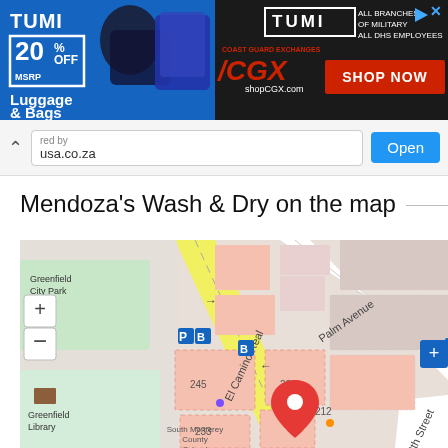[Figure (infographic): TUMI Luggage & Bags advertisement banner showing 20% off MSRP, with TUMI logo, CGX coast guard exchanges branding, and Shop Now button]
[Figure (screenshot): Browser address bar showing partial URL ending in .usa.co.za with an Open button]
Mendoza's Wash & Dry on the map
[Figure (map): Street map showing Mendoza's Wash & Dry location at 218 El Camino Real near intersection with Palm Avenue and 8th Street in Greenfield. Shows Greenfield City Park, Greenfield Library, buildings numbered 245, 232, 233, 218, 212. Map has zoom controls and a red location pin.]